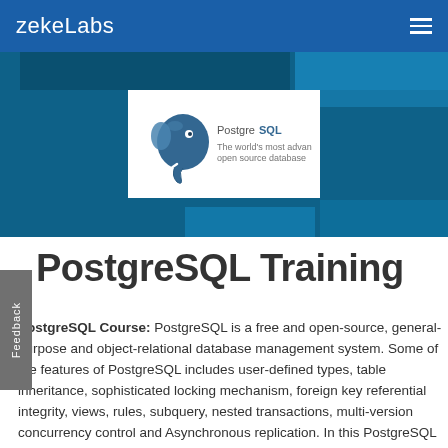zekeLabs
[Figure (logo): PostgreSQL logo with elephant graphic and 'PostgreSQL' text on white background, displayed within a blue geometric banner hero image]
PostgreSQL Training
PostgreSQL Course: PostgreSQL is a free and open-source, general-purpose and object-relational database management system. Some of the features of PostgreSQL includes user-defined types, table inheritance, sophisticated locking mechanism, foreign key referential integrity, views, rules, subquery, nested transactions, multi-version concurrency control and Asynchronous replication. In this PostgreSQL